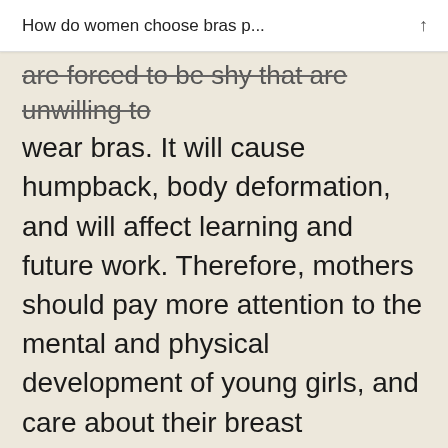How do women choose bras p...
are forced to be shy that are unwilling to wear bras. It will cause humpback, body deformation, and will affect learning and future work. Therefore, mothers should pay more attention to the mental and physical development of young girls, and care about their breast development and maintenance.
How do girls choose lingerie in different ages?
Unlike adult push up bras and upright bras, adolescent girls are constantly developing breast breasts and need soft